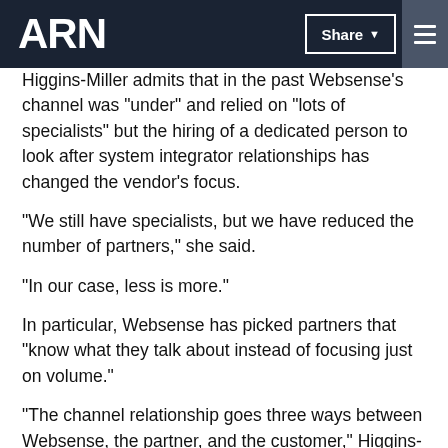ARN | Share | Menu
Higgins-Miller admits that in the past Websense's channel was "under" and relied on "lots of specialists" but the hiring of a dedicated person to look after system integrator relationships has changed the vendor's focus.
“We still have specialists, but we have reduced the number of partners,” she said.
“In our case, less is more.”
In particular, Websense has picked partners that “know what they talk about instead of focusing just on volume.”
“The channel relationship goes three ways between Websense, the partner, and the customer,” Higgins-Miller said.
“You need this to work for it to be successful.”